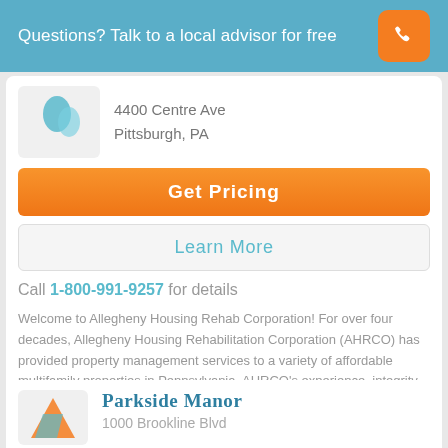Questions? Talk to a local advisor for free
4400 Centre Ave
Pittsburgh, PA
Get Pricing
Learn More
Call 1-800-991-9257 for details
Welcome to Allegheny Housing Rehab Corporation! For over four decades, Allegheny Housing Rehabilitation Corporation (AHRCO) has provided property management services to a variety of affordable multifamily properties in Pennsylvania. AHRCO's experience, integrity and reliability distinguish our company from the competition.
Parkside Manor
1000 Brookline Blvd